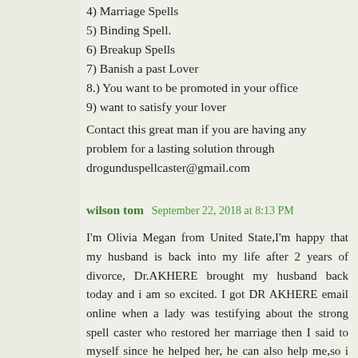4) Marriage Spells
5) Binding Spell.
6) Breakup Spells
7) Banish a past Lover
8.) You want to be promoted in your office
9) want to satisfy your lover
Contact this great man if you are having any problem for a lasting solution through drogunduspellcaster@gmail.com
wilson tom  September 22, 2018 at 8:13 PM
I'm Olivia Megan from United State,I'm happy that my husband is back into my life after 2 years of divorce, Dr.AKHERE brought my husband back today and i am so excited. I got DR AKHERE email online when a lady was testifying about the strong spell caster who restored her marriage then I said to myself since he helped her, he can also help me,so i emailed him and told him the pain that I was going